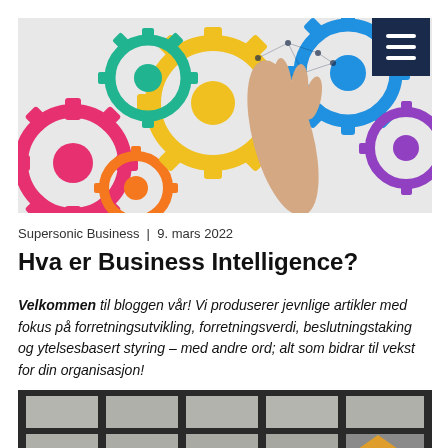[Figure (photo): Colorful mechanical gears (pink, yellow, green, blue, purple, orange) with a hand touching a network/brain diagram made of connected dots, against a light grey background. A dark navy hamburger menu button is in the top right corner.]
Supersonic Business | 9. mars 2022
Hva er Business Intelligence?
Velkommen til bloggen vår! Vi produserer jevnlige artikler med fokus på forretningsutvikling, forretningsverdi, beslutningstaking og ytelsesbasert styring – med andre ord; alt som bidrar til vekst for din organisasjon!
[Figure (photo): Bottom of a building interior showing dark metal grid-framed windows/walls with a partially visible interior scene, including what appears to be a yellow/orange triangular shape.]